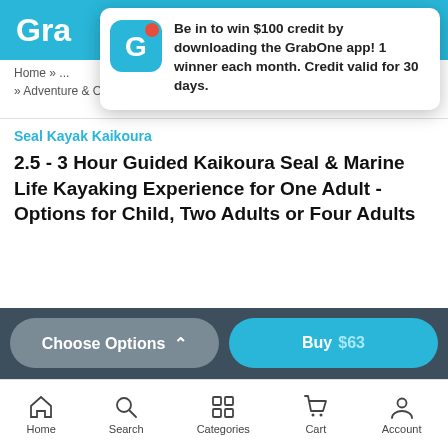Gra[bOne]
Be in to win $100 credit by downloading the GrabOne app! 1 winner each month. Credit valid for 30 days.
Home » ... » Adventure & Outdoors » Kayaking
Seal Kayak Kaikoura
2.5 - 3 Hour Guided Kaikoura Seal & Marine Life Kayaking Experience for One Adult - Options for Child, Two Adults or Four Adults
Choose Options ^  |  Buy $63
Home  Search  Categories  Cart  Account